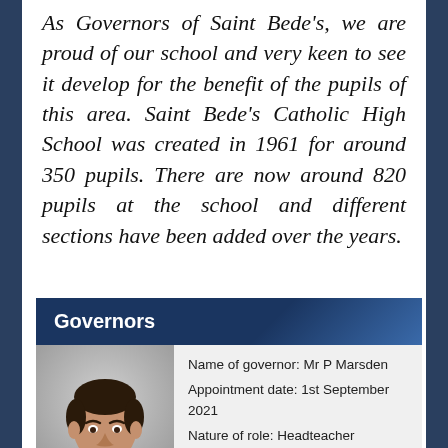As Governors of Saint Bede's, we are proud of our school and very keen to see it develop for the benefit of the pupils of this area. Saint Bede's Catholic High School was created in 1961 for around 350 pupils. There are now around 820 pupils at the school and different sections have been added over the years.
Governors
[Figure (photo): Head and shoulders photo of Mr P Marsden, a man with dark short hair, against a light grey background.]
Name of governor: Mr P Marsden
Appointment date: 1st September 2021
Nature of role: Headteacher
Business interests: None